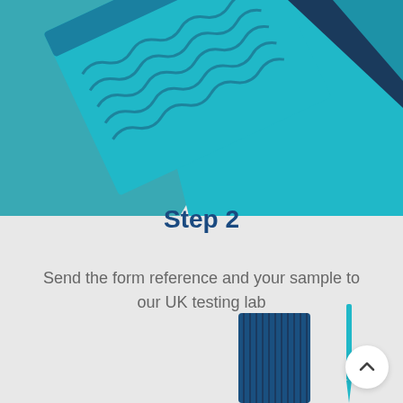[Figure (illustration): Decorative illustration at top of page showing teal/cyan colored geometric shapes representing a form or document with wavy lines, partially visible at the top of the page]
Step 2
Send the form reference and your sample to our UK testing lab
[Figure (illustration): Decorative illustration at bottom of page showing laboratory equipment including a dark blue tube/container with ridges and a thin pipette/dropper in teal/cyan color]
[Figure (other): Scroll-to-top button: white circular button with an upward chevron arrow]